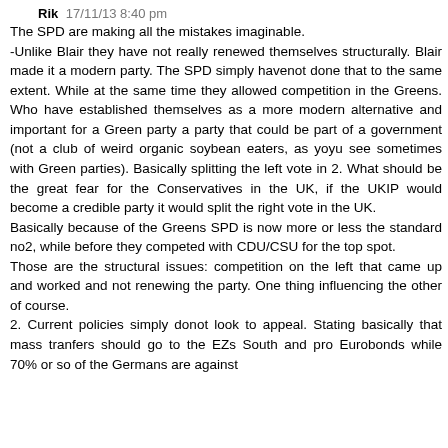Rik 17/11/13 8:40 pm
The SPD are making all the mistakes imaginable.
-Unlike Blair they have not really renewed themselves structurally. Blair made it a modern party. The SPD simply havenot done that to the same extent. While at the same time they allowed competition in the Greens. Who have established themselves as a more modern alternative and important for a Green party a party that could be part of a government (not a club of weird organic soybean eaters, as yoyu see sometimes with Green parties). Basically splitting the left vote in 2. What should be the great fear for the Conservatives in the UK, if the UKIP would become a credible party it would split the right vote in the UK.
Basically because of the Greens SPD is now more or less the standard no2, while before they competed with CDU/CSU for the top spot.
Those are the structural issues: competition on the left that came up and worked and not renewing the party. One thing influencing the other of course.
2.  Current policies simply donot look to appeal. Stating basically that mass tranfers should go to the EZs South and pro Eurobonds while 70% or so of the Germans are against